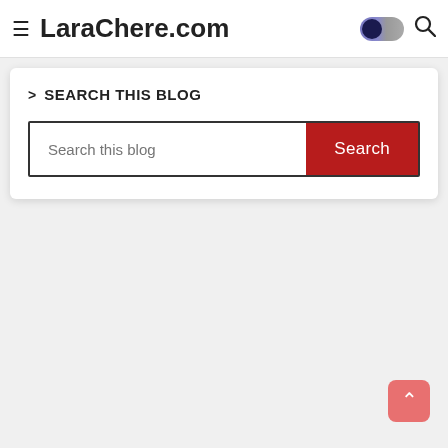LaraChere.com
SEARCH THIS BLOG
Search this blog
Search